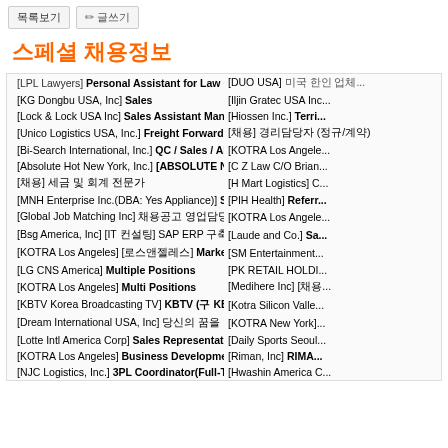목록보기 | ✏ 글쓰기
스페셜 채용정보
[LPL Lawyers] Personal Assistant for Law Office
[DUO USA] 미국 한인 업체...
[KG Dongbu USA, Inc] Sales
[Iljin Gratec USA Inc...
[Lock & Lock USA Inc] Sales Assistant Manager
[Hiossen Inc.] Terri...
[Unico Logistics USA, Inc.] Freight Forwarding (...
[채용] 경리담당자 (정규/계약)
[Bi-Search International, Inc.] QC / Sales / AP / ...
[KOTRA Los Angele...
[Absolute Hot New York, Inc.] [ABSOLUTE NEW...
[C Z Law C/O Brian...
[채용] 세금 및 회계 전문가
[H Mart Logistics] C...
[MNH Enterprise Inc.(DBA: Yes Appliance)] Sales...
[PIH Health] Referr...
[Global Job Matching Inc] 채용공고 영업담당/ 경영기획담당/ 기타 공고
[KOTRA Los Angele...
[Bsg America, Inc] [IT 컨설팅] SAP ERP 구축/운영 전문 인력 채용
[Laude and Co.] Sa...
[KOTRA Los Angeles] [로스앤젤레스] Marketing Manager
[SM Entertainment...
[LG CNS America] Multiple Positions
[PK RETAIL HOLDI...
[KOTRA Los Angeles] Multi Positions
[Medihere Inc] [채용...
[KBTV Korea Broadcasting TV] KBTV (구 KBS A...
[Kotra Silicon Valle...
[Dream International USA, Inc] 당신의 꿈을 이루세요, Dream I...
[KOTRA New York]...
[Lotte Intl America Corp] Sales Representative, ...
[Daily Sports Seoul...
[KOTRA Los Angeles] Business Development ...
[Riman, Inc] RIMA...
[NJC Logistics, Inc.] 3PL Coordinator(Full-Time...
[Hwashin America C...